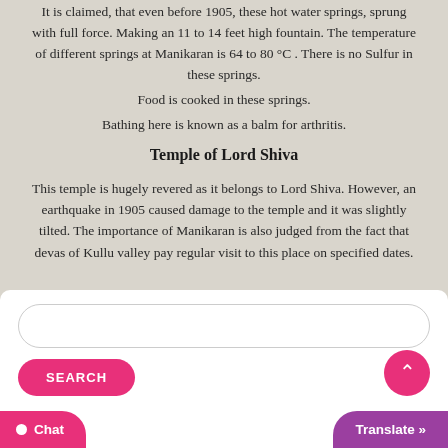It is claimed, that even before 1905, these hot water springs, sprung with full force. Making an 11 to 14 feet high fountain. The temperature of different springs at Manikaran is 64 to 80 °C . There is no Sulfur in these springs.
Food is cooked in these springs.
Bathing here is known as a balm for arthritis.
Temple of Lord Shiva
This temple is hugely revered as it belongs to Lord Shiva. However, an earthquake in 1905 caused damage to the temple and it was slightly tilted. The importance of Manikaran is also judged from the fact that devas of Kullu valley pay regular visit to this place on specified dates.
[Figure (screenshot): Search input box, SEARCH button, scroll-to-top button, Chat button, and Translate button at the bottom of the page]